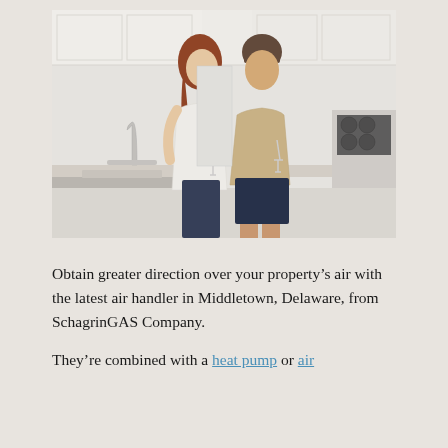[Figure (photo): A couple standing together closely in a modern white kitchen, smiling and holding wine glasses. The woman has red hair and wears a white blouse with dark jeans. The man wears a tan/khaki shirt and navy shorts. Kitchen features white cabinets, stainless steel appliances, and marble countertops.]
Obtain greater direction over your property's air with the latest air handler in Middletown, Delaware, from SchagrinGAS Company.
They're combined with a heat pump or air